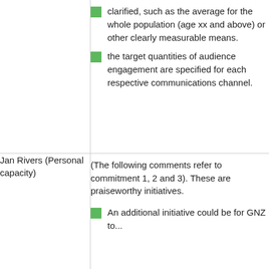clarified, such as the average for the whole population (age xx and above) or other clearly measurable means.
the target quantities of audience engagement are specified for each respective communications channel.
Jan Rivers (Personal capacity)
(The following comments refer to commitment 1, 2 and 3). These are praiseworthy initiatives.
An additional initiative could be for GNZ to...